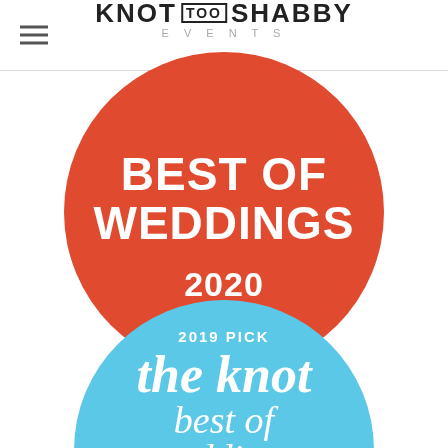Knot Too Shabby Events
[Figure (logo): Knot Too Shabby Events logo with hamburger menu icon on the left]
[Figure (illustration): Red circular badge reading BEST OF WEDDINGS 2020]
[Figure (illustration): Blue circular badge reading 2019 PICK the knot best of weddings (partially visible)]